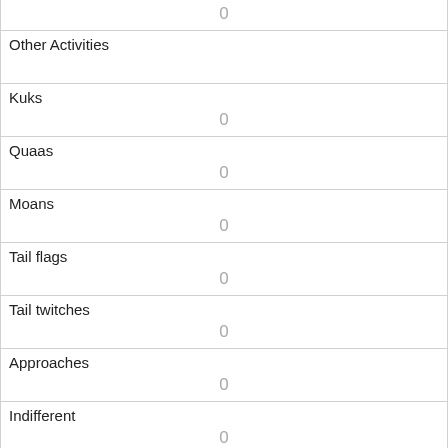| Other Activities |  |
| Kuks | 0 |
| Quaas | 0 |
| Moans | 0 |
| Tail flags | 0 |
| Tail twitches | 0 |
| Approaches | 0 |
| Indifferent | 0 |
| Runs from | 1 |
| Other Interactions |  |